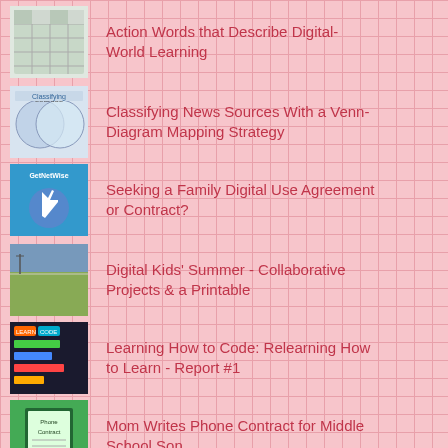Action Words that Describe Digital-World Learning
Classifying News Sources With a Venn-Diagram Mapping Strategy
Seeking a Family Digital Use Agreement or Contract?
Digital Kids' Summer - Collaborative Projects & a Printable
Learning How to Code: Relearning How to Learn - Report #1
Mom Writes Phone Contract for Middle School Son
How Millennial Are You? Take this Pew